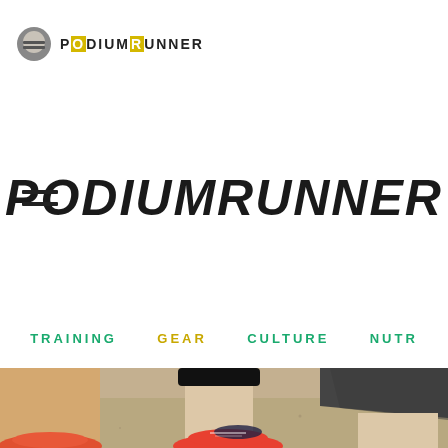EuroPodiumRunner
PodiumRunner
TRAINING   GEAR   CULTURE   NUTR
[Figure (photo): Photo of runners' legs in running shoes on a sandy/dirt surface, wearing colorful running shoes (orange/red) and athletic shorts]